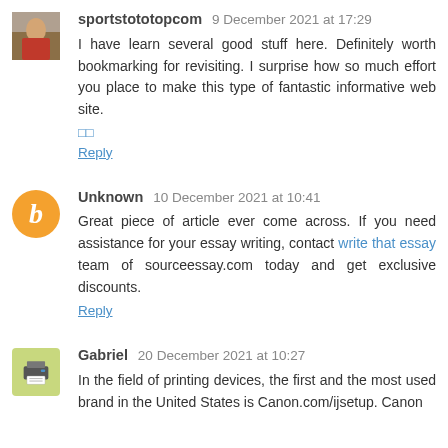sportstototopcom 9 December 2021 at 17:29
I have learn several good stuff here. Definitely worth bookmarking for revisiting. I surprise how so much effort you place to make this type of fantastic informative web site.
[][]
Reply
Unknown 10 December 2021 at 10:41
Great piece of article ever come across. If you need assistance for your essay writing, contact write that essay team of sourceessay.com today and get exclusive discounts.
Reply
Gabriel 20 December 2021 at 10:27
In the field of printing devices, the first and the most used brand in the United States is Canon.com/ijsetup. Canon